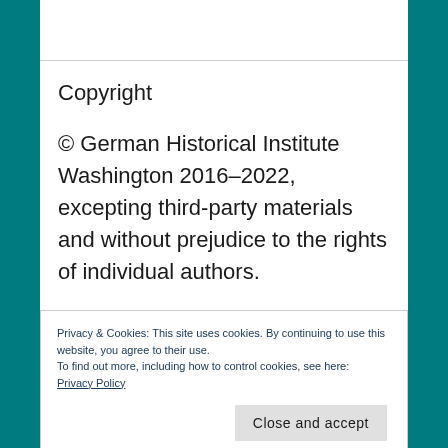Copyright
© German Historical Institute Washington 2016–2022, excepting third-party materials and without prejudice to the rights of individual authors.
[Figure (logo): Partial logo with blue and teal circles and text, cropped at bottom of page]
Privacy & Cookies: This site uses cookies. By continuing to use this website, you agree to their use.
To find out more, including how to control cookies, see here:
Privacy Policy
Close and accept